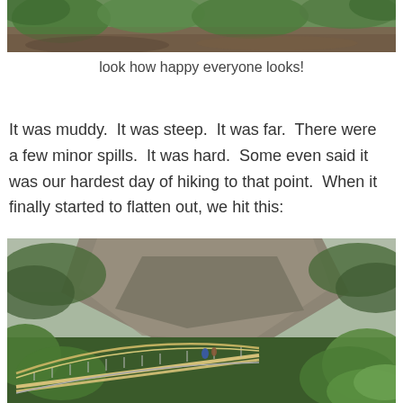[Figure (photo): Top portion of a photo showing muddy vegetation and greenery on a hillside trail]
look how happy everyone looks!
It was muddy.  It was steep.  It was far.  There were a few minor spills.  It was hard.  Some even said it was our hardest day of hiking to that point.  When it finally started to flatten out, we hit this:
[Figure (photo): A suspension bridge crossing a lush green gorge with a steep rocky cliff in the background and a forested hillside; hikers walking along the narrow bridge with yellow railings]